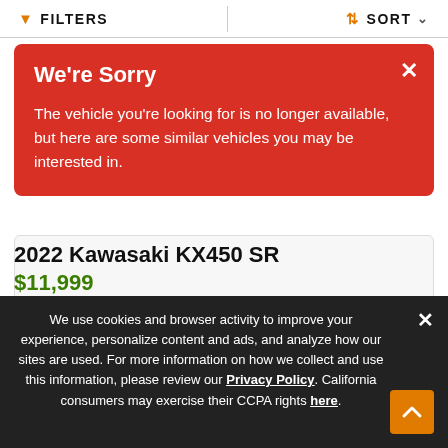FILTERS  |  SORT
We're Sorry
The vehicle you're looking for is no longer available, but here are some similar vehicles you may be interested in.
[Figure (photo): Kawasaki KX450 SR dirt bike / motocross motorcycle showing wheels, frame, engine and exhaust pipe on white background]
2022 Kawasaki KX450 SR
$11,999
We use cookies and browser activity to improve your experience, personalize content and ads, and analyze how our sites are used. For more information on how we collect and use this information, please review our Privacy Policy. California consumers may exercise their CCPA rights here.